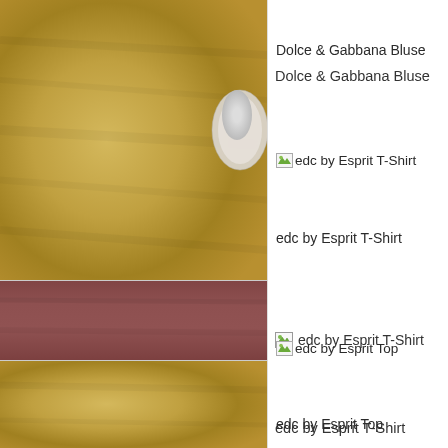[Figure (photo): Golden/tan leather-textured fabric close-up with a rounded white/light object partially visible at right, top half of left panel]
Dolce & Gabbana Bluse
[Figure (photo): Mauve/rose-pink rectangular leather or fabric surface, middle section of left panel]
[img] edc by Esprit T-Shirt
edc by Esprit T-Shirt
[Figure (photo): Golden/tan leather-textured fabric close-up, bottom section of left panel]
[img] edc by Esprit Top
edc by Esprit Top